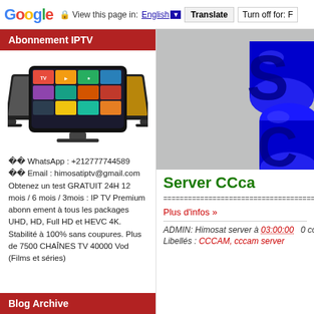Google  View this page in: English [▼]  Translate  Turn off for: F
Abonnement IPTV
[Figure (photo): Curved Samsung smart TV screens showing various streaming content tiles and app icons]
❦❦ WhatsApp : +212777744589 ❦❦ Email : himosatiptv@gmail.com Obtenez un test GRATUIT 24H 12 mois / 6 mois / 3mois : IP TV Premium abonnement à tous les packages UHD, HD, Full HD et HEVC 4K. Stabilité à 100% sans coupures. Plus de 7500 CHAÎNES TV 40000 Vod (Films et séries)
Blog Archive
[Figure (illustration): Blue 3D rendered cylindrical objects on grey background, partial view]
Server CCca
================================================
Plus d'infos »
ADMIN: Himosat server à 03:00:00   0 comm
Libellés : CCCAM, cccam server